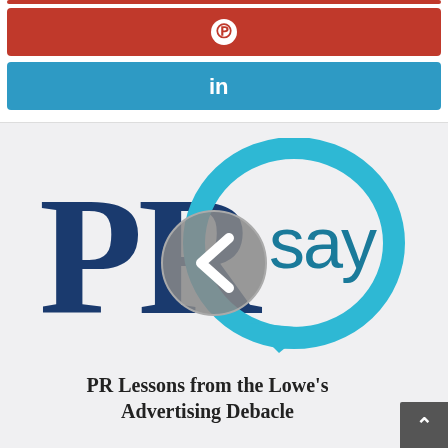[Figure (other): Pinterest share button with Pinterest 'P' icon on red background]
[Figure (other): LinkedIn share button with 'in' icon on blue background]
[Figure (logo): PRSay logo - bold blue 'PR' letters with teal speech bubble containing 'say' and an arrow, with a circular back navigation button overlay]
PR Lessons from the Lowe's Advertising Debacle